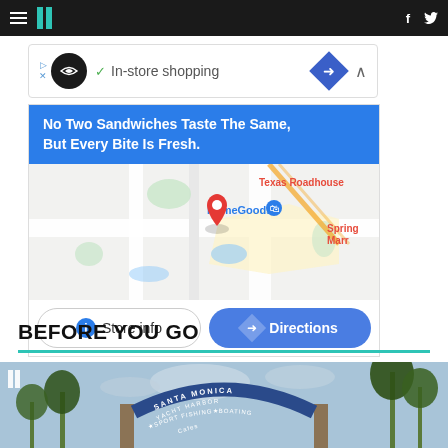HuffPost navigation bar with hamburger menu, HuffPost logo, Facebook and Twitter icons
[Figure (screenshot): Ad banner with circular logo, checkmark, 'In-store shopping' text, and navigation diamond icon]
[Figure (map): Google Maps widget showing location with 'No Two Sandwiches Taste The Same, But Every Bite Is Fresh.' banner, map view with HomeGoods, Texas Roadhouse, Spring Marr labels, red pin marker, and buttons for Store info and Directions]
BEFORE YOU GO
[Figure (photo): Santa Monica Yacht Harbor Sport Fishing Boating Cafes arch with palm trees]